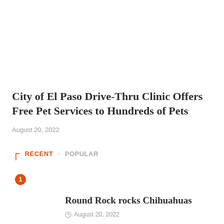City of El Paso Drive-Thru Clinic Offers Free Pet Services to Hundreds of Pets
August 20, 2022
RECENT • POPULAR
1
Round Rock rocks Chihuahuas
August 20, 2022